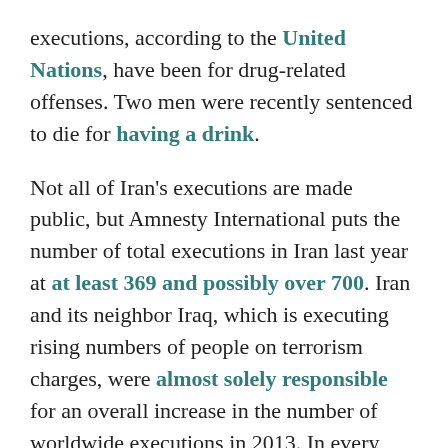executions, according to the United Nations, have been for drug-related offenses. Two men were recently sentenced to die for having a drink.
Not all of Iran's executions are made public, but Amnesty International puts the number of total executions in Iran last year at at least 369 and possibly over 700. Iran and its neighbor Iraq, which is executing rising numbers of people on terrorism charges, were almost solely responsible for an overall increase in the number of worldwide executions in 2013. In every other country in the world, the death penalty is either unused or its use is dropping.
The death penalty is becoming extraordinarily rare, even in the United States. Most executions happen